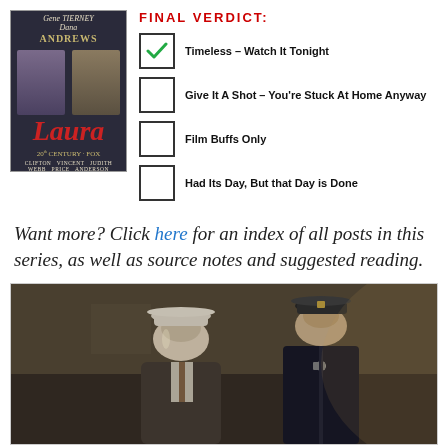[Figure (illustration): Movie poster for 'Laura' featuring Gene Tierney and Dana Andrews, 20th Century Fox film directed by Otto Preminger]
FINAL VERDICT:
Timeless – Watch It Tonight (checked)
Give It A Shot – You're Stuck At Home Anyway
Film Buffs Only
Had Its Day, But that Day is Done
Want more? Click here for an index of all posts in this series, as well as source notes and suggested reading.
[Figure (photo): Black and white film still from Laura showing two men, one in a fedora hat and one in a police uniform, in a dimly lit interior scene]